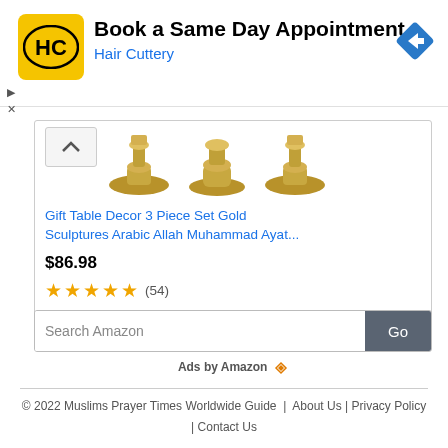[Figure (screenshot): Hair Cuttery advertisement banner with logo, 'Book a Same Day Appointment' headline, and navigation arrow icon]
[Figure (screenshot): Amazon product listing for Gift Table Decor 3 Piece Set Gold Sculptures Arabic Allah Muhammad Ayat - showing product images, price $86.98, and star rating (54 reviews)]
[Figure (screenshot): Amazon search bar with 'Search Amazon' placeholder text and Go button]
Ads by Amazon
© 2022 Muslims Prayer Times Worldwide Guide | About Us | Privacy Policy | Contact Us